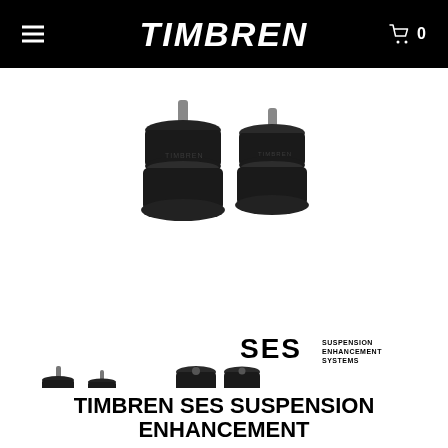TIMBREN
[Figure (photo): Two Timbren SES suspension enhancement rubber bump stops with threaded metal studs on top, shown as a pair side by side on white background]
[Figure (logo): SES Suspension Enhancement Systems logo in black]
[Figure (photo): Smaller thumbnail view of two Timbren SES bump stops, similar angle to main product image, with SES logo below]
[Figure (photo): Thumbnail view of Timbren SES kit components including two cylindrical bump stops and hardware bolts, with SES logo below]
TIMBREN SES SUSPENSION ENHANCEMENT